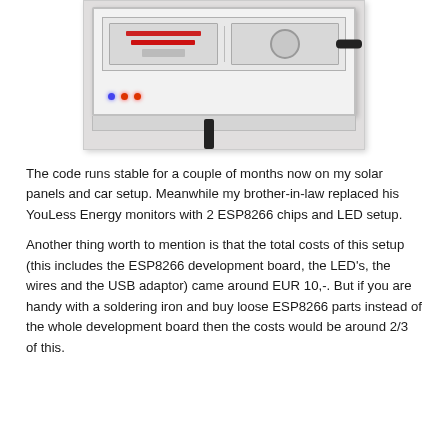[Figure (photo): Photo of a white electrical panel/fuse box mounted on a wall, with a black cable plugged into a socket on the side. The box has circuit breakers and LED indicators visible. A black cable runs downward from the bottom of the box.]
The code runs stable for a couple of months now on my solar panels and car setup. Meanwhile my brother-in-law replaced his YouLess Energy monitors with 2 ESP8266 chips and LED setup.
Another thing worth to mention is that the total costs of this setup (this includes the ESP8266 development board, the LED's, the wires and the USB adaptor) came around EUR 10,-. But if you are handy with a soldering iron and buy loose ESP8266 parts instead of the whole development board then the costs would be around 2/3 of this.